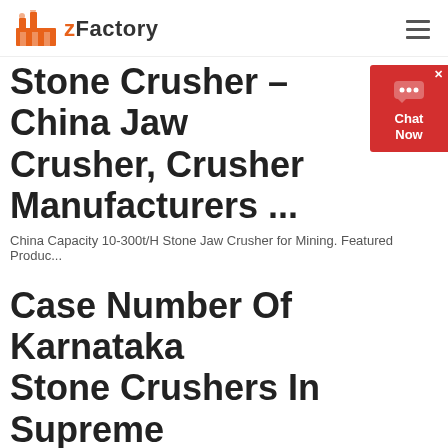zFactory
Stone Crusher – China Jaw Crusher, Crusher Manufacturers ...
China Capacity 10-300t/H Stone Jaw Crusher for Mining. Featured Produc...
Case Number Of Karnataka Stone Crushers In Supreme Court
Supreme Court Judgement On Karnataka Stone Crusher Stone crusher ...